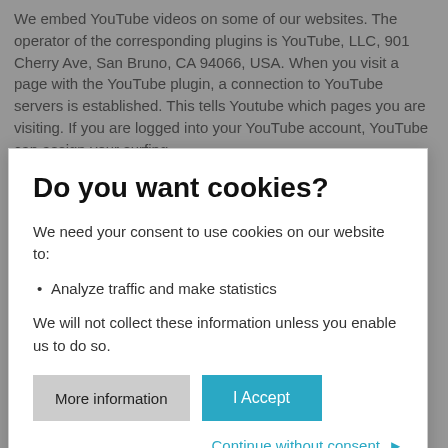We embed YouTube videos on some of our websites. The operator of the corresponding plugins is YouTube, LLC, 901 Cherry Ave, San Bruno, CA 94066, USA. When you visit a page with the YouTube plugin, a connection to YouTube servers is established. This tells Youtube which pages you are visiting. If you are logged into your YouTube account, YouTube can assign your surfing
Do you want cookies?
We need your consent to use cookies on our website to:
Analyze traffic and make statistics
We will not collect these information unless you enable us to do so.
More information | I Accept
Continue without consent ▶
exclusively on the basis of Art. 6 para. 1 lit. a GDPR; the consent can be revoked at any time.
Further information on data protection at "Youtube" can be found in the provider's data protection statement at: